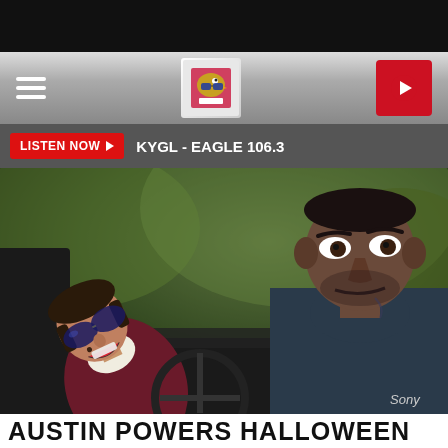[Figure (screenshot): Mobile app screenshot showing KYGL Eagle 106.3 radio station page with navigation bar, listen now button, and a movie still of two people in a car (Austin Powers Halloween themed). Sony credit shown.]
AUSTIN POWERS HALLOWEEN